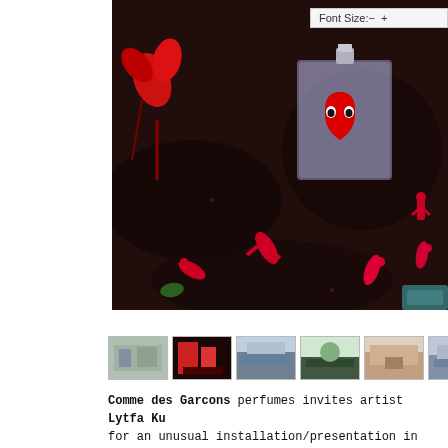[Figure (photo): Close-up photo of dark soil with a Comme des Garcons perfume bottle (square glass bottle with silver cap) lying on its side, bearing the iconic red heart with white eyes logo. Surrounding the bottle are red figurines of people in various poses, red flower-like structures, and other decorative elements on dark earth.]
Font Size:- +
[Figure (photo): Row of 7 thumbnail images showing various views of the Comme des Garcons installation/exhibition space, with the last thumbnail being taller and showing a corridor with red elements.]
Comme des Garcons perfumes invites artist Lytfa Ku for an unusual installation/presentation in its par shop Place du Marché Saint Honoré. Imaginary flower